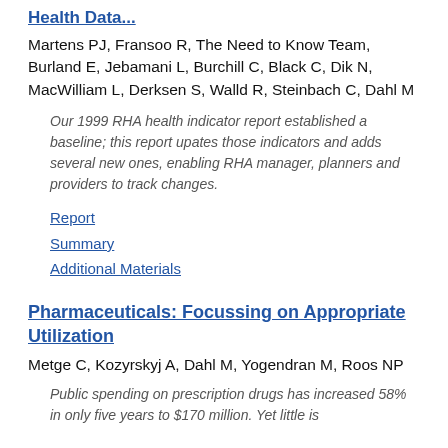Health Data...
Martens PJ, Fransoo R, The Need to Know Team, Burland E, Jebamani L, Burchill C, Black C, Dik N, MacWilliam L, Derksen S, Walld R, Steinbach C, Dahl M
Our 1999 RHA health indicator report established a baseline; this report upates those indicators and adds several new ones, enabling RHA manager, planners and providers to track changes.
Report
Summary
Additional Materials
Pharmaceuticals: Focussing on Appropriate Utilization
Metge C, Kozyrskyj A, Dahl M, Yogendran M, Roos NP
Public spending on prescription drugs has increased 58% in only five years to $170 million. Yet little is